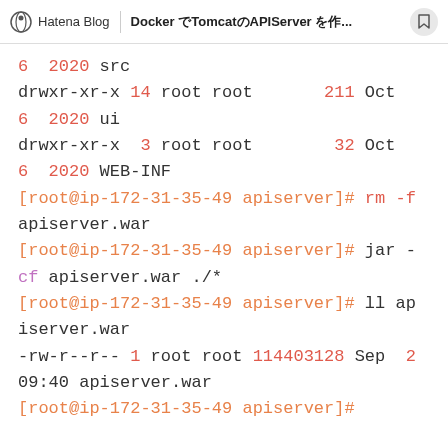Hatena Blog | Docker でTomcatのAPIServer を作...
6  2020 src
drwxr-xr-x 14 root root       211 Oct
6  2020 ui
drwxr-xr-x  3 root root        32 Oct
6  2020 WEB-INF
[root@ip-172-31-35-49 apiserver]# rm -f
apiserver.war
[root@ip-172-31-35-49 apiserver]# jar -
cf apiserver.war ./*
[root@ip-172-31-35-49 apiserver]# ll ap
iserver.war
-rw-r--r-- 1 root root 114403128 Sep  2
09:40 apiserver.war
[root@ip-172-31-35-49 apiserver]#